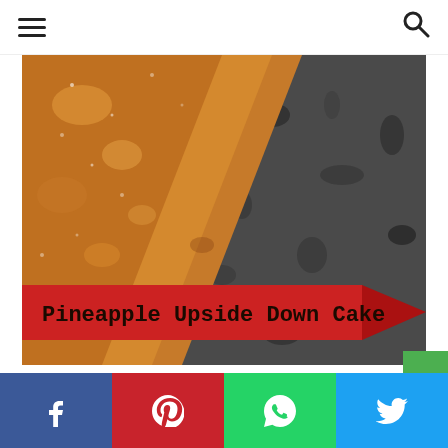Navigation menu and search icon
[Figure (photo): Close-up photo of Pineapple Upside Down Cake on a dark granite surface. A red ribbon banner with the text 'Pineapple Upside Down Cake' overlays the lower portion of the image.]
[Figure (infographic): Social sharing bar at the bottom with Facebook (blue), Pinterest (red), WhatsApp (green), and Twitter (light blue) buttons with their respective icons.]